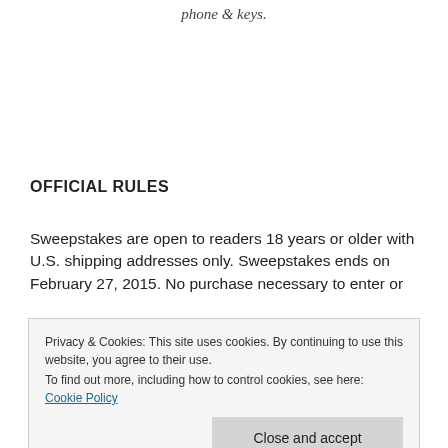phone & keys.
OFFICIAL RULES
Sweepstakes are open to readers 18 years or older with U.S. shipping addresses only. Sweepstakes ends on February 27, 2015. No purchase necessary to enter or
Privacy & Cookies: This site uses cookies. By continuing to use this website, you agree to their use.
To find out more, including how to control cookies, see here: Cookie Policy
associated with, Facebook. We hereby release Facebook